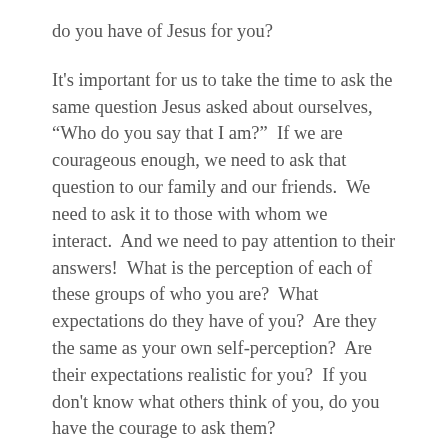do you have of Jesus for you?
It's important for us to take the time to ask the same question Jesus asked about ourselves, “Who do you say that I am?”  If we are courageous enough, we need to ask that question to our family and our friends.  We need to ask it to those with whom we interact.  And we need to pay attention to their answers!  What is the perception of each of these groups of who you are?  What expectations do they have of you?  Are they the same as your own self-perception?  Are their expectations realistic for you?  If you don’t know what others think of you, do you have the courage to ask them?
This one requires radical honesty.  It requires time,